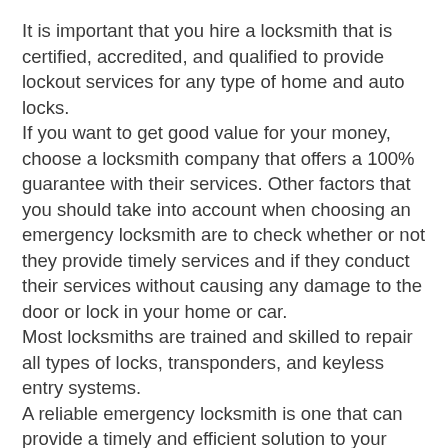It is important that you hire a locksmith that is certified, accredited, and qualified to provide lockout services for any type of home and auto locks. If you want to get good value for your money, choose a locksmith company that offers a 100% guarantee with their services. Other factors that you should take into account when choosing an emergency locksmith are to check whether or not they provide timely services and if they conduct their services without causing any damage to the door or lock in your home or car. Most locksmiths are trained and skilled to repair all types of locks, transponders, and keyless entry systems. A reliable emergency locksmith is one that can provide a timely and efficient solution to your problem.
If your home is subject to a burglary, calling an emergency locksmith would be a good decision.